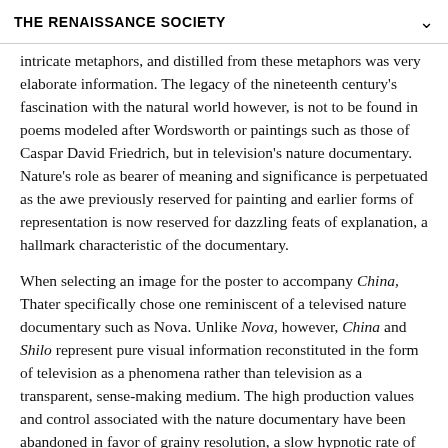THE RENAISSANCE SOCIETY
intricate metaphors, and distilled from these metaphors was very elaborate information. The legacy of the nineteenth century’s fascination with the natural world however, is not to be found in poems modeled after Wordsworth or paintings such as those of Caspar David Friedrich, but in television’s nature documentary. Nature’s role as bearer of meaning and significance is perpetuated as the awe previously reserved for painting and earlier forms of representation is now reserved for dazzling feats of explanation, a hallmark characteristic of the documentary.

When selecting an image for the poster to accompany China, Thater specifically chose one reminiscent of a televised nature documentary such as Nova. Unlike Nova, however, China and Shilo represent pure visual information reconstituted in the form of television as a phenomena rather than television as a transparent, sense-making medium. The high production values and control associated with the nature documentary have been abandoned in favor of grainy resolution, a slow hypnotic rate of